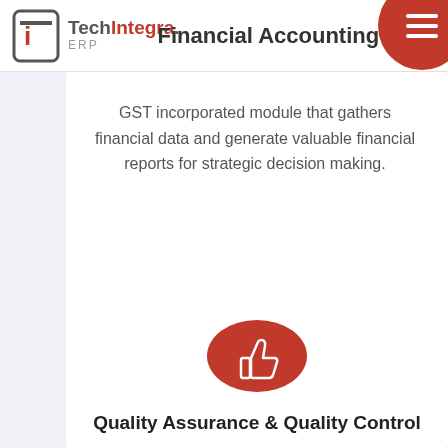TechIntegra ERP — Financial Accounting
Financial Accounting
GST incorporated module that gathers financial data and generate valuable financial reports for strategic decision making.
[Figure (illustration): Red circle with white thumbs-up icon]
Quality Assurance & Quality Control